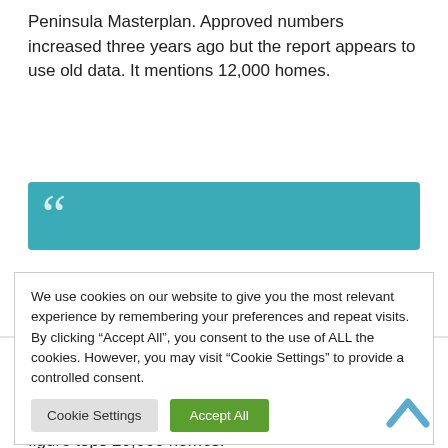Peninsula Masterplan. Approved numbers increased three years ago but the report appears to use old data. It mentions 12,000 homes.
[Figure (other): Teal/blue quote block with large opening quotation mark in white]
We use cookies on our website to give you the most relevant experience by remembering your preferences and repeat visits. By clicking “Accept All”, you consent to the use of ALL the cookies. However, you may visit “Cookie Settings” to provide a controlled consent.
Cookie Settings | Accept All (cookie consent buttons)
2015.
Add in other schemes such as Morden Wharf and AEG towers, alongside Enderby Wharf and the figure tops 20,000 homes.